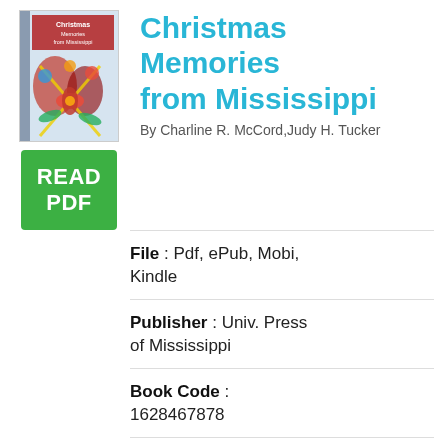[Figure (illustration): Book cover thumbnail for 'Christmas Memories from Mississippi' showing a festive holiday scene with ornaments and ribbons]
[Figure (other): Green READ PDF button]
Christmas Memories from Mississippi
By Charline R. McCord, Judy H. Tucker
File : Pdf, ePub, Mobi, Kindle
Publisher : Univ. Press of Mississippi
Book Code : 1628467878
Total of Pages : 192
Category : Biography & Autobiography